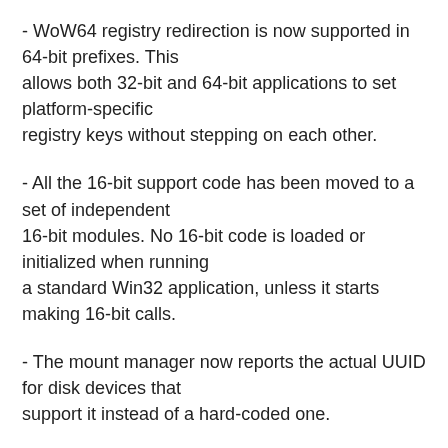- WoW64 registry redirection is now supported in 64-bit prefixes. This allows both 32-bit and 64-bit applications to set platform-specific registry keys without stepping on each other.
- All the 16-bit support code has been moved to a set of independent 16-bit modules. No 16-bit code is loaded or initialized when running a standard Win32 application, unless it starts making 16-bit calls.
- The mount manager now reports the actual UUID for disk devices that support it instead of a hard-coded one.
- Symbolic links are now supported in the registry.
- The C runtime libraries msvcr80, msvcr90 and msvcr100 used by recent Visual C++ versions are now bundled in the Wine source tree.